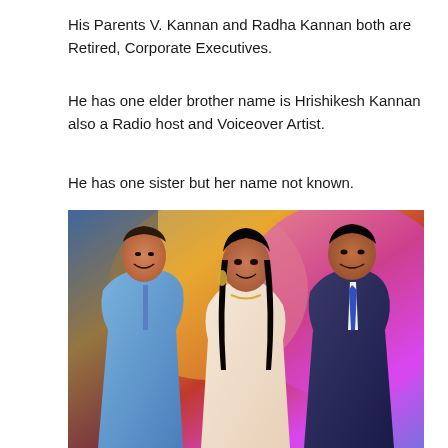His Parents V. Kannan and Radha Kannan both are Retired, Corporate Executives.
He has one elder brother name is Hrishikesh Kannan also a Radio host and Voiceover Artist.
He has one sister but her name not known.
[Figure (photo): A photograph of three people smiling at an event. On the left is a man in a blue suit laughing, in the center is a woman in a light pink embroidered outfit wearing jewelry, and on the right is a man in a dark suit with a blue tie. The background features colorful event lighting in yellow, red, and pink/purple tones.]